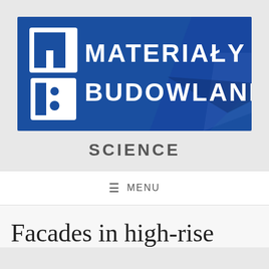[Figure (logo): Materiały Budowlane logo — blue background with white bold stylized text reading 'Materiały Budowlane' with an 'm' and 'b' icon on the left side]
SCIENCE
≡ MENU
Facades in high-rise